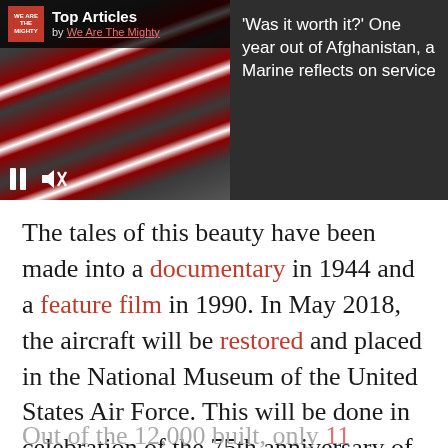[Figure (screenshot): Top banner showing 'We Are The Mighty' top articles widget with two images: left shows flag-draped coffins, right shows a military selfie. Includes pause and mute controls, dots and X close buttons, and a blue arrow navigation button. Dark panel on the right reads: 'Was it worth it? One year out of Afghanistan, a Marine reflects on service']
The tales of this beauty have been made into a documentary in 1944 and a feature film in 1990. In May 2018, the aircraft will be restored and placed in the National Museum of the United States Air Force. This will be done in celebration of the 75th anniversary of it's final combat mission.
Out of the 12,000 built, only 11 remain